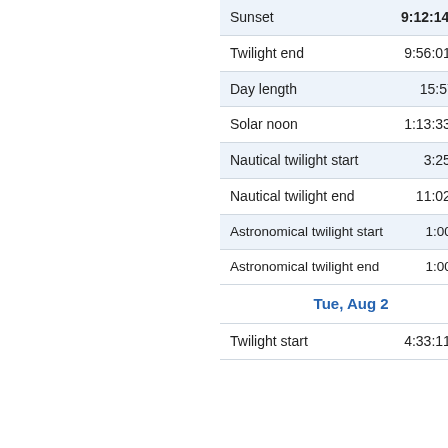| Event | Time |
| --- | --- |
| Sunset | 9:12:14 pm |
| Twilight end | 9:56:01 pm |
| Day length | 15:57:22 |
| Solar noon | 1:13:33 pm |
| Nautical twilight start | 3:25 am |
| Nautical twilight end | 11:02 pm |
| Astronomical twilight start | 1:00 am |
| Astronomical twilight end | 1:00 am |
| Tue, Aug 2 |  |
| Twilight start | 4:33:11 am |